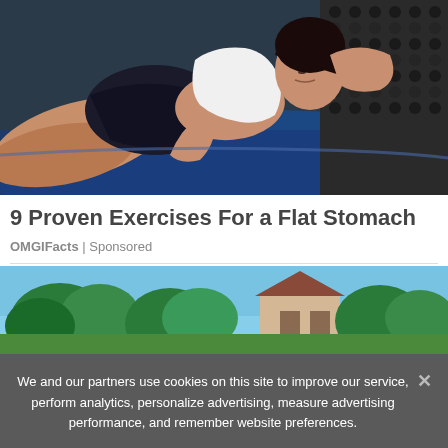[Figure (photo): Fit woman in black shorts and white tank top lying on a blue exercise mat doing crunches, fitness/workout photo]
9 Proven Exercises For a Flat Stomach
OMGIFacts | Sponsored
[Figure (photo): Outdoor scene with trees and blue sky, partial view of residential area]
We and our partners use cookies on this site to improve our service, perform analytics, personalize advertising, measure advertising performance, and remember website preferences.
Ok